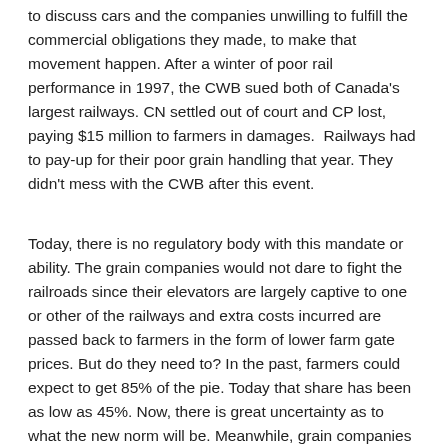to discuss cars and the companies unwilling to fulfill the commercial obligations they made, to make that movement happen. After a winter of poor rail performance in 1997, the CWB sued both of Canada's largest railways. CN settled out of court and CP lost, paying $15 million to farmers in damages. Railways had to pay-up for their poor grain handling that year. They didn't mess with the CWB after this event.
Today, there is no regulatory body with this mandate or ability. The grain companies would not dare to fight the railroads since their elevators are largely captive to one or other of the railways and extra costs incurred are passed back to farmers in the form of lower farm gate prices. But do they need to? In the past, farmers could expect to get 85% of the pie. Today that share has been as low as 45%. Now, there is great uncertainty as to what the new norm will be. Meanwhile, grain companies are raking it in. An estimate calculated by the Canadian Wheat Board Alliance